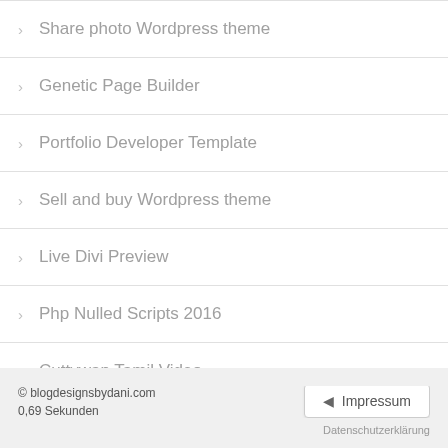Share photo Wordpress theme
Genetic Page Builder
Portfolio Developer Template
Sell and buy Wordpress theme
Live Divi Preview
Php Nulled Scripts 2016
Cuttywap Tamil Video
Free themes for Android Tablet
Design Services
© blogdesignsbydani.com
0,69 Sekunden
Impressum
Datenschutzerklärung